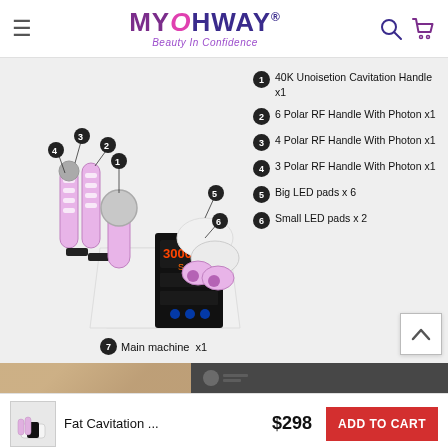MYOHWAY® Beauty In Confidence
[Figure (photo): Beauty machine product photo with numbered callout labels showing handles and LED pads attached to main unit, white and purple colored device with digital display]
1 40K Unoisetion Cavitation Handle x1
2 6 Polar RF Handle With Photon x1
3 4 Polar RF Handle With Photon x1
4 3 Polar RF Handle With Photon x1
5 Big LED pads x 6
6 Small LED pads x 2
7 Main machine x1
Fat Cavitation ... $298 ADD TO CART